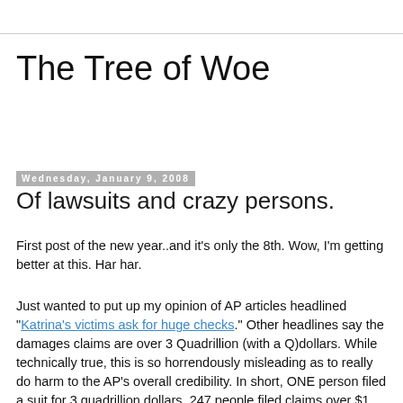The Tree of Woe
Wednesday, January 9, 2008
Of lawsuits and crazy persons.
First post of the new year..and it's only the 8th. Wow, I'm getting better at this. Har har.
Just wanted to put up my opinion of AP articles headlined "Katrina's victims ask for huge checks." Other headlines say the damages claims are over 3 Quadrillion (with a Q)dollars. While technically true, this is so horrendously misleading as to really do harm to the AP's overall credibility. In short, ONE person filed a suit for 3 quadrillion dollars. 247 people filed claims over $1 billion. So, because there are crazy pro-se litigants in Louisiana who are suing the government, we all